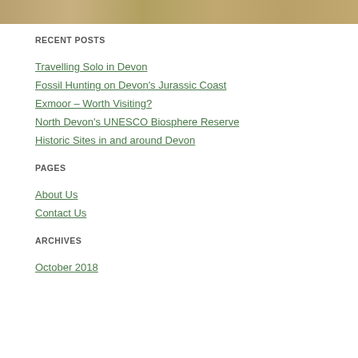[Figure (photo): Sandy/brownish textured background image bar at top of page]
RECENT POSTS
Travelling Solo in Devon
Fossil Hunting on Devon's Jurassic Coast
Exmoor – Worth Visiting?
North Devon's UNESCO Biosphere Reserve
Historic Sites in and around Devon
PAGES
About Us
Contact Us
ARCHIVES
October 2018